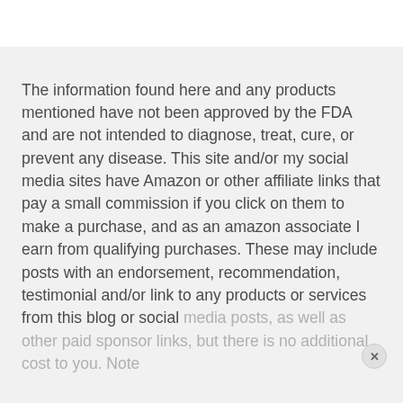The information found here and any products mentioned have not been approved by the FDA and are not intended to diagnose, treat, cure, or prevent any disease.  This site and/or my social media sites have Amazon or other affiliate links that pay a small commission if you click on them to make a purchase, and as an amazon associate I earn from qualifying purchases. These may include posts with an endorsement, recommendation, testimonial and/or link to any products or services from this blog or social media posts, as well as other paid sponsor links, but there is no additional cost to you. Note